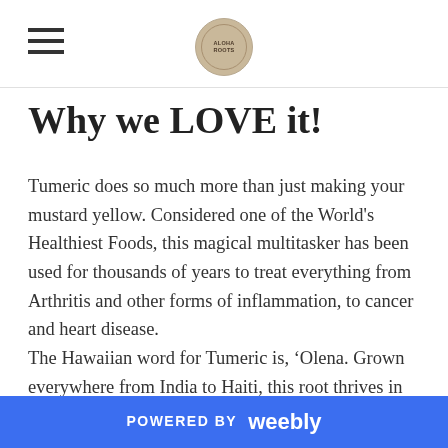[Navigation menu icon] [ALOHA ROOTS logo]
Why we LOVE it!
Tumeric does so much more than just making your mustard yellow.  Considered one of the World's Healthiest Foods, this magical multitasker has been used for thousands of years to treat everything from Arthritis and other forms of inflammation, to cancer and heart disease.
The Hawaiian word for Tumeric is, ‘Olena.  Grown everywhere from India to Haiti, this root thrives in sub-tropical environments much like our own.  I’ve used ‘Olena for years as an anti-inflammatory treatment for bruising and pain, both topically and internally as a tea.  Keep reading to get my recipe for 'Olena and Mamaki tea.
POWERED BY weebly